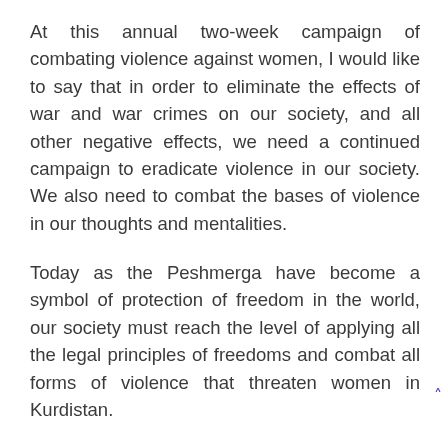At this annual two-week campaign of combating violence against women, I would like to say that in order to eliminate the effects of war and war crimes on our society, and all other negative effects, we need a continued campaign to eradicate violence in our society. We also need to combat the bases of violence in our thoughts and mentalities.
Today as the Peshmerga have become a symbol of protection of freedom in the world, our society must reach the level of applying all the legal principles of freedoms and combat all forms of violence that threaten women in Kurdistan.